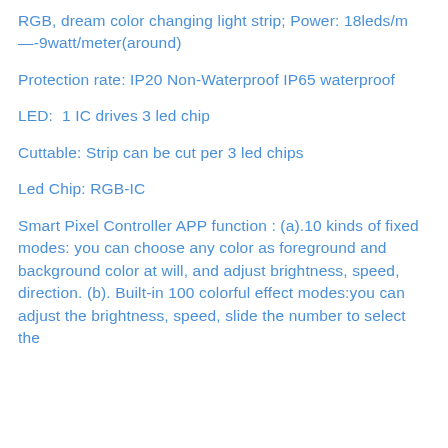RGB, dream color changing light strip; Power: 18leds/m—-9watt/meter(around)
Protection rate: IP20 Non-Waterproof IP65 waterproof
LED:  1 IC drives 3 led chip
Cuttable: Strip can be cut per 3 led chips
Led Chip: RGB-IC
Smart Pixel Controller APP function : (a).10 kinds of fixed modes: you can choose any color as foreground and background color at will, and adjust brightness, speed, direction. (b). Built-in 100 colorful effect modes:you can adjust the brightness, speed, slide the number to select the